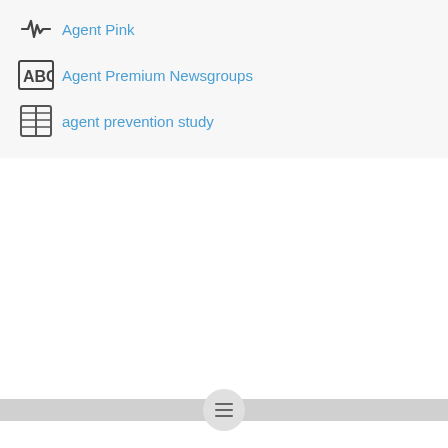Agent Pink
Agent Premium Newsgroups
agent prevention study